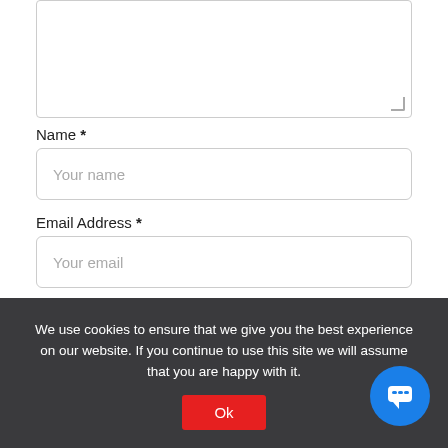[Figure (screenshot): Textarea input field (partially visible, top portion cropped)]
Name *
[Figure (screenshot): Text input field with placeholder 'Your name']
Email Address *
[Figure (screenshot): Text input field with placeholder 'Your email']
[Figure (screenshot): reCAPTCHA widget with checkbox labeled 'I'm not a robot']
We use cookies to ensure that we give you the best experience on our website. If you continue to use this site we will assume that you are happy with it.
Ok